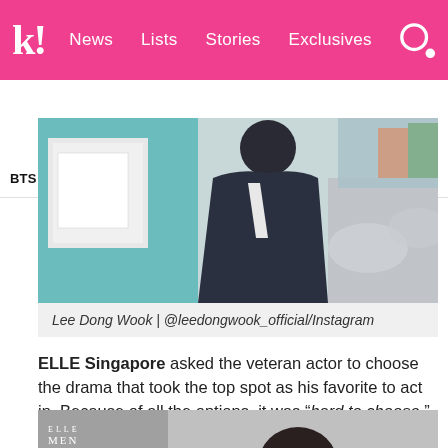k! News  Lists  Stories  Exclusives
BTS  BLACKPINK  Girls' Generation  TWICE  TXT  SEVE
[Figure (photo): Photo of Lee Dong Wook in a dark blazer on a street, with teal/blue storefront in background and cars visible]
Lee Dong Wook | @leedongwook_official/Instagram
ELLE Singapore asked the veteran actor to choose the drama that took the top spot as his favorite to act in. Because of all the options, it was "hard to choose."
[Figure (photo): Bottom portion of ELLE MEN magazine featuring Lee Dong Wook]